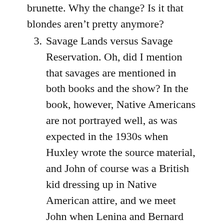brunette. Why the change? Is it that blondes aren't pretty anymore?
3. Savage Lands versus Savage Reservation. Oh, did I mention that savages are mentioned in both books and the show? In the book, however, Native Americans are not portrayed well, as was expected in the 1930s when Huxley wrote the source material, and John of course was a British kid dressing up in Native American attire, and we meet John when Lenina and Bernard went to the “Savage Reservations” in New Mexico in the book source material. How it deviates with the show! We meet John before Lenina boards the rocket to the Savage Lands, and the whole land is a theme